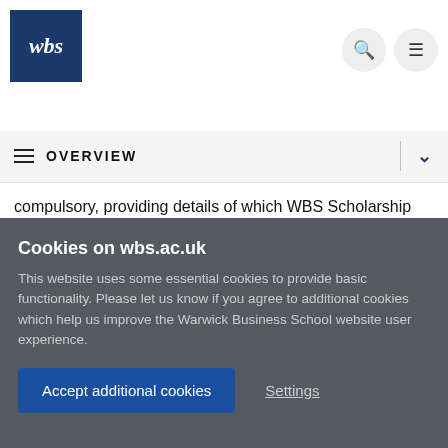[Figure (logo): WBS (Warwick Business School) logo — white italic text on dark blue square background]
OVERVIEW
compulsory, providing details of which WBS Scholarship you feel you should be considered for could strengthen your application.
Cookies on wbs.ac.uk
This website uses some essential cookies to provide basic functionality. Please let us know if you agree to additional cookies which help us improve the Warwick Business School website user experience.
Accept additional cookies   Settings